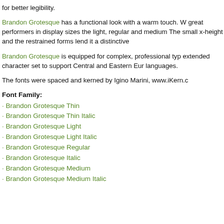for better legibility.
Brandon Grotesque has a functional look with a warm touch. W great performers in display sizes the light, regular and medium The small x-height and the restrained forms lend it a distinctive
Brandon Grotesque is equipped for complex, professional typ extended character set to support Central and Eastern Eur languages.
The fonts were spaced and kerned by Igino Marini, www.iKern.c
Font Family:
· Brandon Grotesque Thin
· Brandon Grotesque Thin Italic
· Brandon Grotesque Light
· Brandon Grotesque Light Italic
· Brandon Grotesque Regular
· Brandon Grotesque Italic
· Brandon Grotesque Medium
· Brandon Grotesque Medium Italic